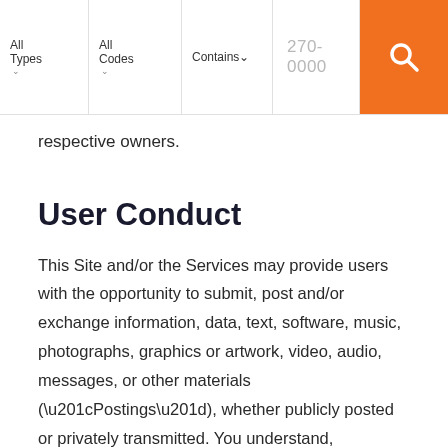All Types | All Codes | Contains | 270-0000 | [search]
respective owners.
User Conduct
This Site and/or the Services may provide users with the opportunity to submit, post and/or exchange information, data, text, software, music, photographs, graphics or artwork, video, audio, messages, or other materials (“Postings”), whether publicly posted or privately transmitted. You understand, acknowledge and agree that such Postings are the sole responsibility of the person from which such Postings originated. This